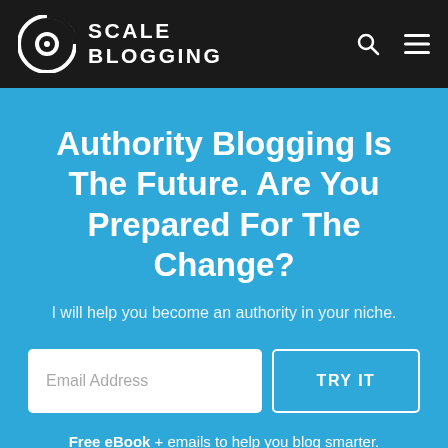SCALE BLOGGING
Authority Blogging Is The Future. Are You Prepared For The Change?
I will help you become an authority in your niche.
Email Address
TRY IT
Free eBook + emails to help you blog smarter.